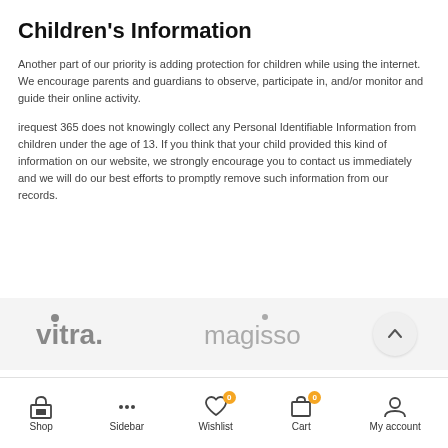Children's Information
Another part of our priority is adding protection for children while using the internet. We encourage parents and guardians to observe, participate in, and/or monitor and guide their online activity.
irequest 365 does not knowingly collect any Personal Identifiable Information from children under the age of 13. If you think that your child provided this kind of information on our website, we strongly encourage you to contact us immediately and we will do our best efforts to promptly remove such information from our records.
[Figure (logo): vitra. brand logo in grey]
[Figure (logo): magisso brand logo in grey]
Shop  Sidebar  Wishlist 0  Cart 0  My account